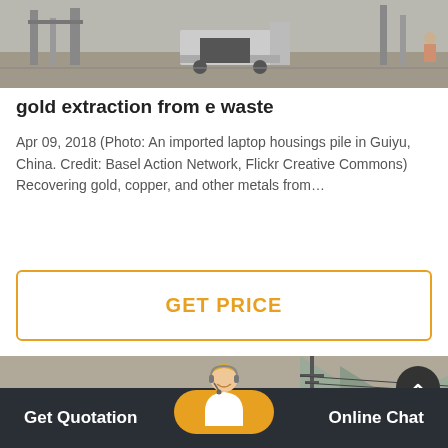[Figure (photo): Black and white photo of industrial/mining equipment with structures and vehicles]
gold extraction from e waste
Apr 09, 2018 (Photo: An imported laptop housings pile in Guiyu, China. Credit: Basel Action Network, Flickr Creative Commons) Recovering gold, copper, and other metals from…
GET PRICE
[Figure (photo): Outdoor mountainside mining/construction site with red equipment and power lines]
Get Quotation   Online Chat